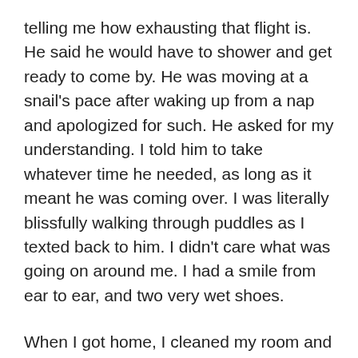telling me how exhausting that flight is. He said he would have to shower and get ready to come by. He was moving at a snail's pace after waking up from a nap and apologized for such. He asked for my understanding. I told him to take whatever time he needed, as long as it meant he was coming over. I was literally blissfully walking through puddles as I texted back to him. I didn't care what was going on around me. I had a smile from ear to ear, and two very wet shoes.
When I got home, I cleaned my room and showered. He asked me to find a good Italian restaurant to order from. I called my Italian ex-roommate to ask which one he preferred since I respected his taste in Italian cuisine. I set the menu on the counter and waited for him to call. I instructed him to pull up in front of my apartment, and I